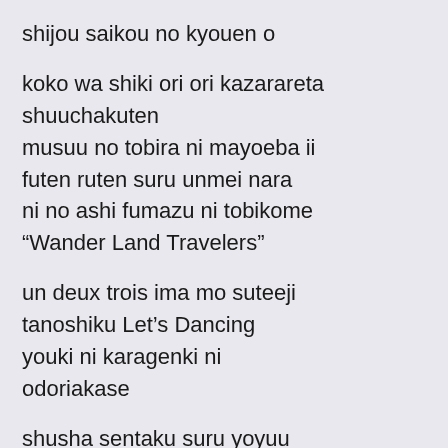shijou saikou no kyouen o
koko wa shiki ori ori kazarareta shuuchakuten
musuu no tobira ni mayoeba ii
futen ruten suru unmei nara
ni no ashi fumazu ni tobikome
“Wander Land Travelers”
un deux trois ima mo suteeji
tanoshiku Let’s Dancing
youki ni karagenki ni
odoriakase
shusha sentaku suru yoyuu
pasage no kanji no